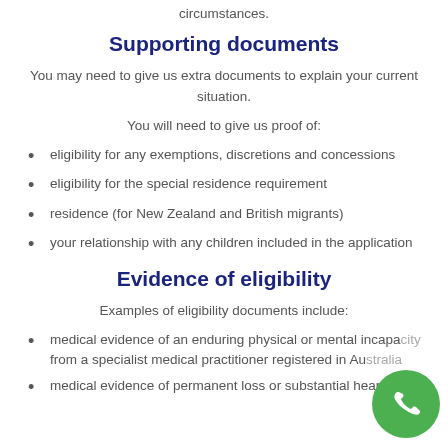circumstances.
Supporting documents
You may need to give us extra documents to explain your current situation.
You will need to give us proof of:
eligibility for any exemptions, discretions and concessions
eligibility for the special residence requirement
residence (for New Zealand and British migrants)
your relationship with any children included in the application
Evidence of eligibility
Examples of eligibility documents include:
medical evidence of an enduring physical or mental incapacity from a specialist medical practitioner registered in Australia
medical evidence of permanent loss or substantial hearing